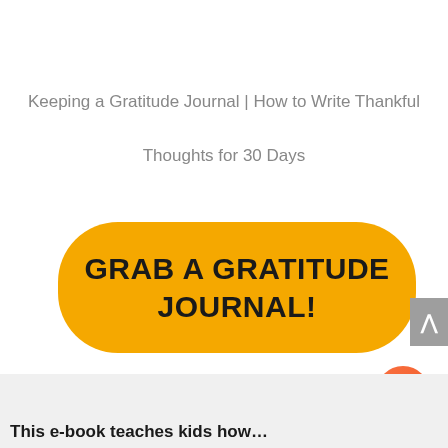Keeping a Gratitude Journal | How to Write Thankful Thoughts for 30 Days
[Figure (other): Yellow rounded rectangle button with bold text 'GRAB A GRATITUDE JOURNAL!']
This e-book teaches kids how…